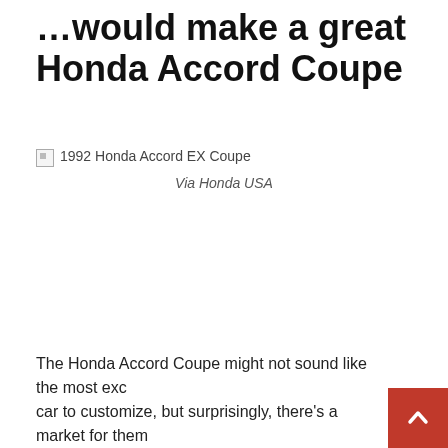…would make a great project car: Honda Accord Coupe
[Figure (photo): Broken/missing image placeholder for 1992 Honda Accord EX Coupe]
Via Honda USA
The Honda Accord Coupe might not sound like the most exciting car to customize, but surprisingly, there's a market for them